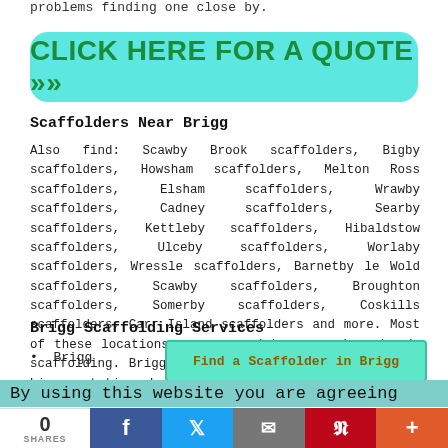problems finding one close by.
[Figure (other): Cyan rounded button with text CLICK HERE FOR A QUOTE >>]
Scaffolders Near Brigg
Also find: Scawby Brook scaffolders, Bigby scaffolders, Howsham scaffolders, Melton Ross scaffolders, Elsham scaffolders, Wrawby scaffolders, Cadney scaffolders, Searby scaffolders, Kettleby scaffolders, Hibaldstow scaffolders, Ulceby scaffolders, Worlaby scaffolders, Wressle scaffolders, Barnetby le Wold scaffolders, Scawby scaffolders, Broughton scaffolders, Somerby scaffolders, Coskills scaffolders, Carr Island scaffolders and more. Most of these locations are covered by companies who do scaffolding. Brigg property owners can get scaffold hire quotations by clicking here.
Brigg Scaffolding Services
Brigg
[Figure (other): Teal button: Find a Scaffolder in Brigg]
By using this website you are agreeing
0 SHARES [Facebook] [Twitter] [Email] [Pinterest] [More]